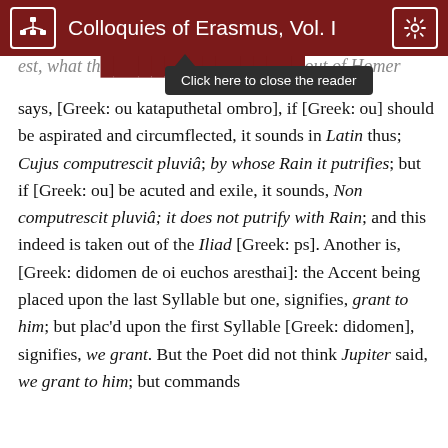Colloquies of Erasmus, Vol. I
est, what the... out of Homer says, [Greek: ou kataputhetal ombro], if [Greek: ou] should be aspirated and circumflected, it sounds in Latin thus; Cujus computrescit pluviâ; by whose Rain it putrifies; but if [Greek: ou] be acuted and exile, it sounds, Non computrescit pluviâ; it does not putrify with Rain; and this indeed is taken out of the Iliad [Greek: ps]. Another is, [Greek: didomen de oi euchos aresthai]: the Accent being placed upon the last Syllable but one, signifies, grant to him; but plac'd upon the first Syllable [Greek: didomen], signifies, we grant. But the Poet did not think Jupiter said, we grant to him; but commands